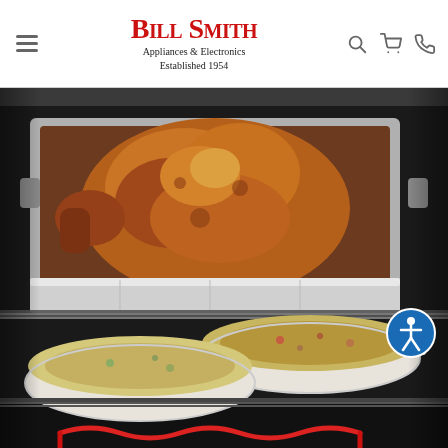Bill Smith Appliances & Electronics — Established 1954
[Figure (photo): A roasted turkey in a large stainless steel roasting pan on the top rack of an oven, with two white ceramic baking dishes containing casseroles/stuffing on lower oven racks. Red heating element visible at bottom. Accessibility icon overlay in lower right.]